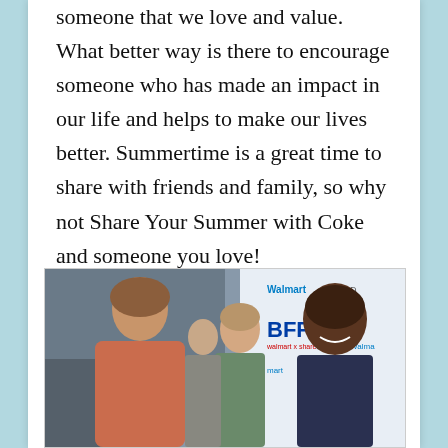someone that we love and value. What better way is there to encourage someone who has made an impact in our life and helps to make our lives better. Summertime is a great time to share with friends and family, so why not Share Your Summer with Coke and someone you love!
[Figure (photo): Photo of two women smiling at an event with Walmart and BFF branded backdrop signage visible in background]